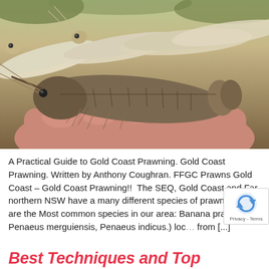[Figure (photo): Close-up photo of several prawns/shrimps held in a person's hand. One large darker shrimp is prominent in the foreground with visible segmentation and antennae, while several lighter/white prawns are visible behind it.]
A Practical Guide to Gold Coast Prawning. Gold Coast Prawning. Written by Anthony Coughran. FFGC Prawns Gold Coast – Gold Coast Prawning!!  The SEQ, Gold Coast and Far northern NSW have a many different species of prawn. These are the Most common species in our area: Banana prawn ( Penaeus merguiensis, Penaeus indicus.) loc... from [...]
Best Techniques and Top